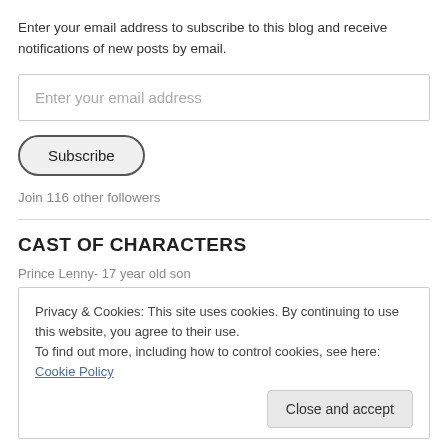Enter your email address to subscribe to this blog and receive notifications of new posts by email.
Enter your email address
Subscribe
Join 116 other followers
CAST OF CHARACTERS
Prince Lenny- 17 year old son
Privacy & Cookies: This site uses cookies. By continuing to use this website, you agree to their use.
To find out more, including how to control cookies, see here: Cookie Policy
Close and accept
Lady DiddlieDee- BFF